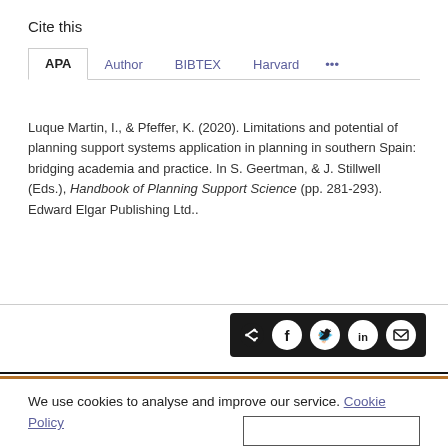Cite this
APA  Author  BIBTEX  Harvard  ...
Luque Martin, I., & Pfeffer, K. (2020). Limitations and potential of planning support systems application in planning in southern Spain: bridging academia and practice. In S. Geertman, & J. Stillwell (Eds.), Handbook of Planning Support Science (pp. 281-293). Edward Elgar Publishing Ltd..
[Figure (other): Share bar with icons for share, Facebook, Twitter, LinkedIn, and email on dark background]
We use cookies to analyse and improve our service. Cookie Policy